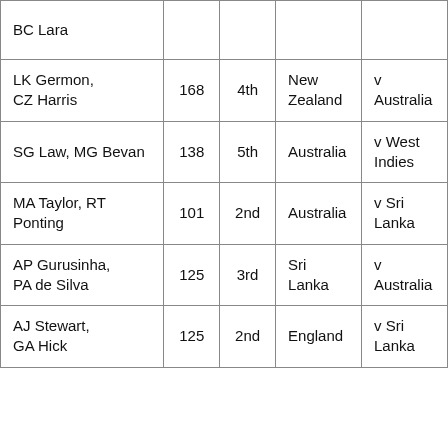| BC Lara |  |  |  |  |
| LK Germon,
CZ Harris | 168 | 4th | New Zealand | v Australia |
| SG Law, MG Bevan | 138 | 5th | Australia | v West Indies |
| MA Taylor, RT Ponting | 101 | 2nd | Australia | v Sri Lanka |
| AP Gurusinha, PA de Silva | 125 | 3rd | Sri Lanka | v Australia |
| AJ Stewart, GA Hick | 125 | 2nd | England | v Sri Lanka |